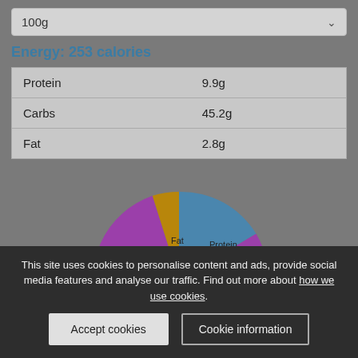100g
Energy: 253 calories
|  |  |
| --- | --- |
| Protein | 9.9g |
| Carbs | 45.2g |
| Fat | 2.8g |
[Figure (pie-chart): Macronutrient breakdown]
This site uses cookies to personalise content and ads, provide social media features and analyse our traffic. Find out more about how we use cookies.
Accept cookies
Cookie information